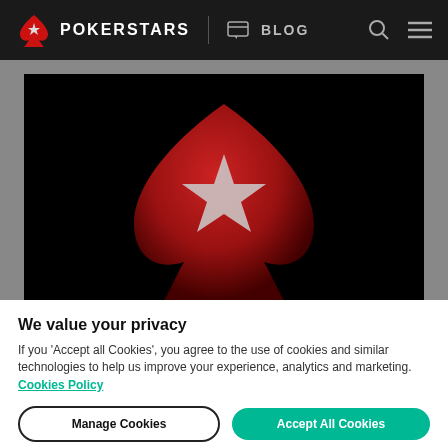[Figure (logo): PokerStars Blog navigation bar with logo (red spade with star), brand name POKERSTARS, divider, chat bubble icon and BLOG text, search icon and hamburger menu on the right, all on a dark background]
[Figure (logo): Large red PokerStars spade logo with white star on a black background hero image]
We value your privacy
If you 'Accept all Cookies', you agree to the use of cookies and similar technologies to help us improve your experience, analytics and marketing.  Cookies Policy
Manage Cookies
Accept All Cookies